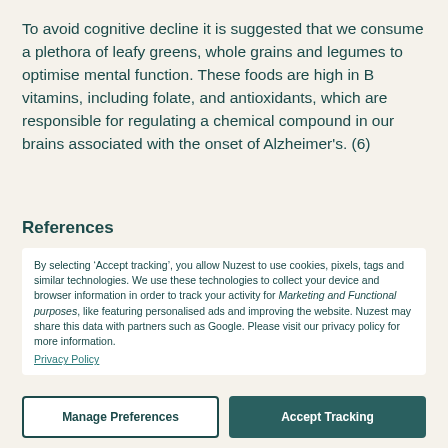To avoid cognitive decline it is suggested that we consume a plethora of leafy greens, whole grains and legumes to optimise mental function. These foods are high in B vitamins, including folate, and antioxidants, which are responsible for regulating a chemical compound in our brains associated with the onset of Alzheimer's. (6)
References
By selecting ‘Accept tracking’, you allow Nuzest to use cookies, pixels, tags and similar technologies. We use these technologies to collect your device and browser information in order to track your activity for Marketing and Functional purposes, like featuring personalised ads and improving the website. Nuzest may share this data with partners such as Google. Please visit our privacy policy for more information.
Privacy Policy
Manage Preferences
Accept Tracking